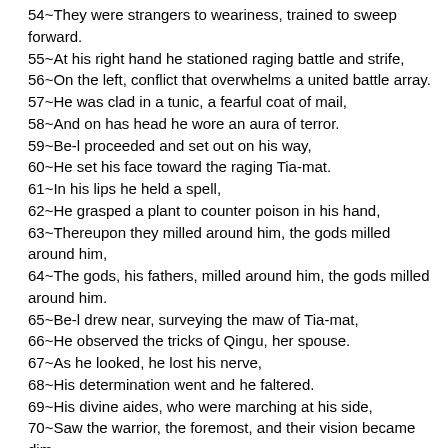54~They were strangers to weariness, trained to sweep forward.
55~At his right hand he stationed raging battle and strife,
56~On the left, conflict that overwhelms a united battle array.
57~He was clad in a tunic, a fearful coat of mail,
58~And on has head he wore an aura of terror.
59~Be-l proceeded and set out on his way,
60~He set his face toward the raging Tia-mat.
61~In his lips he held a spell,
62~He grasped a plant to counter poison in his hand,
63~Thereupon they milled around him, the gods milled around him,
64~The gods, his fathers, milled around him, the gods milled around him.
65~Be-l drew near, surveying the maw of Tia-mat,
66~He observed the tricks of Qingu, her spouse.
67~As he looked, he lost his nerve,
68~His determination went and he faltered.
69~His divine aides, who were marching at his side,
70~Saw the warrior, the foremost, and their vision became dim.
71~Tia-mat cast her spell without turning her neck,
72~In her lips she held untruth and lies,
73~"[...]